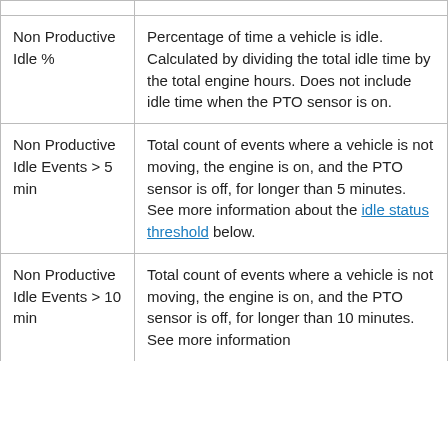| Term | Definition |
| --- | --- |
| Non Productive Idle % | Percentage of time a vehicle is idle. Calculated by dividing the total idle time by the total engine hours. Does not include idle time when the PTO sensor is on. |
| Non Productive Idle Events > 5 min | Total count of events where a vehicle is not moving, the engine is on, and the PTO sensor is off, for longer than 5 minutes. See more information about the idle status threshold below. |
| Non Productive Idle Events > 10 min | Total count of events where a vehicle is not moving, the engine is on, and the PTO sensor is off, for longer than 10 minutes. See more information |